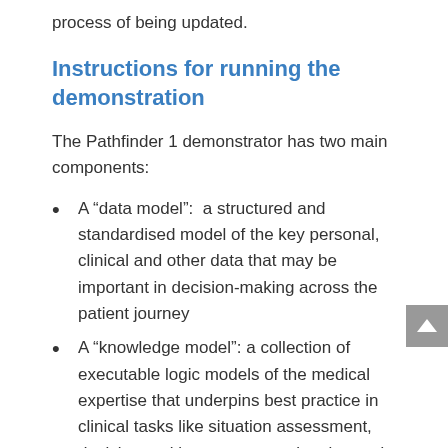process of being updated.
Instructions for running the demonstration
The Pathfinder 1 demonstrator has two main components:
A “data model”:  a structured and standardised model of the key personal, clinical and other data that may be important in decision-making across the patient journey
A “knowledge model”: a collection of executable logic models of the medical expertise that underpins best practice in clinical tasks like situation assessment, decision-making, treatment planning and workflow management in patient care